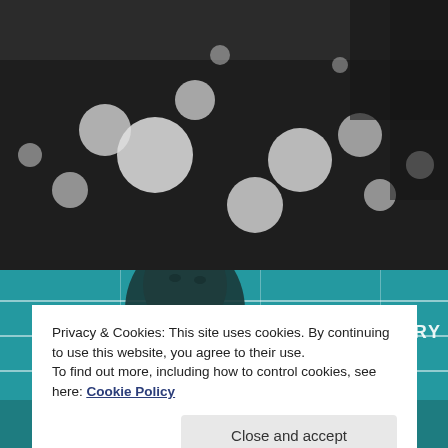[Figure (photo): Black and white photograph of blurred bokeh lights and tree branches against a dark background]
[Figure (photo): Teal-toned photograph of a bronze statue of a man's head and shoulders in front of a modern glass building with text 'TAKING EVERY SMALL S' visible]
Privacy & Cookies: This site uses cookies. By continuing to use this website, you agree to their use.
To find out more, including how to control cookies, see here: Cookie Policy
Close and accept